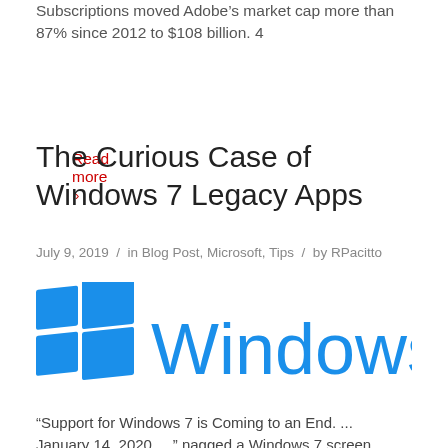Subscriptions moved Adobe’s market cap more than 87% since 2012 to $108 billion. 4
Read more ›
The Curious Case of Windows 7 Legacy Apps
July 9, 2019 / in Blog Post, Microsoft, Tips / by RPacitto
[Figure (logo): Microsoft Windows logo: blue four-pane window icon followed by the word 'Windows' in blue]
“Support for Windows 7 is Coming to an End. ... January 14, 2020...” nagged a Windows 7 screen